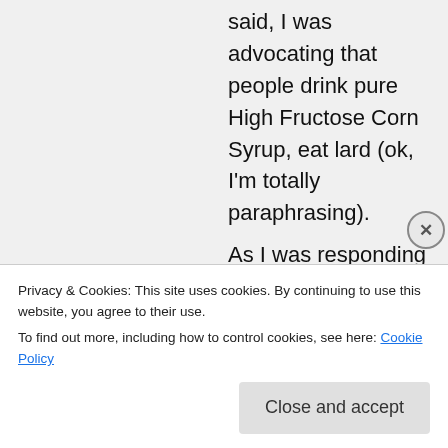said, I was advocating that people drink pure High Fructose Corn Syrup, eat lard (ok, I'm totally paraphrasing). As I was responding to those incidents, which I mention in the first line, this post was not meant to really be FA 101 or to win hearts and minds. This was me blowing off a bunch of frustration at situations I couldn't do anything else about. The problem with the folks telling me to mind my tone, or to not swear, is that the
Privacy & Cookies: This site uses cookies. By continuing to use this website, you agree to their use. To find out more, including how to control cookies, see here: Cookie Policy